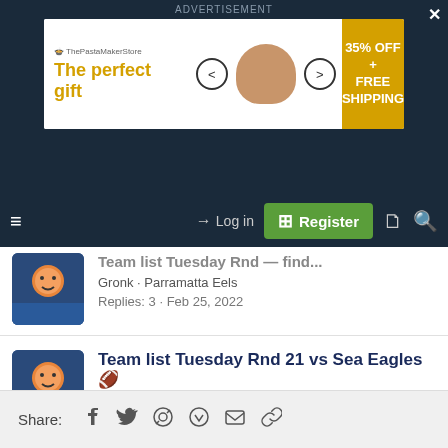[Figure (screenshot): Advertisement banner: The perfect gift with 35% OFF + FREE SHIPPING]
Log in | Register navigation bar
Team list Tuesday Rnd 21 vs Sea Eagles 🏈 - Gronk · Parramatta Eels - Replies: 418 · Aug 8, 2022
Team list Tuesday - Round 19 vs Broncos - Gronk · Parramatta Eels - Replies: 204 · Jul 28, 2022
Share: Facebook Twitter Reddit WhatsApp Email Link